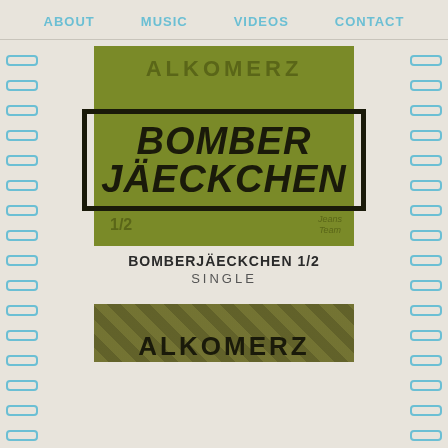ABOUT   MUSIC   VIDEOS   CONTACT
[Figure (illustration): Album cover for Bomberjäeckchen 1/2 by Alkomerz. Olive/khaki green background with large bold black italic text BOMBER JÄECKCHEN inside a black rectangular border. ALKOMERZ text at top in dark olive. 1/2 at bottom left, Jeans Team logo at bottom right.]
BOMBERJÄECKCHEN 1/2
SINGLE
[Figure (illustration): Partial view of second album cover by Alkomerz. Camouflage pattern background with ALKOMERZ text visible at bottom.]